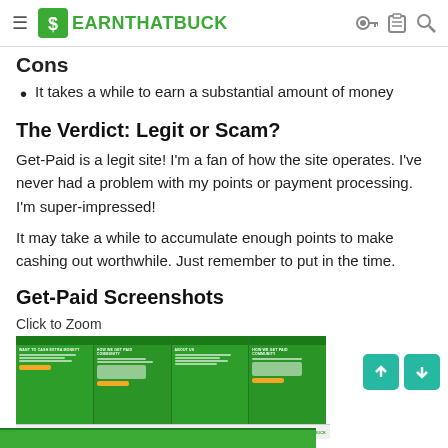EARNTHATBUCK
Cons
It takes a while to earn a substantial amount of money
The Verdict: Legit or Scam?
Get-Paid is a legit site! I'm a fan of how the site operates. I've never had a problem with my points or payment processing. I'm super-impressed!
It may take a while to accumulate enough points to make cashing out worthwhile. Just remember to put in the time.
Get-Paid Screenshots
Click to Zoom
[Figure (screenshot): Screenshots of the Get-Paid website showing the homepage and about us page with green branding]